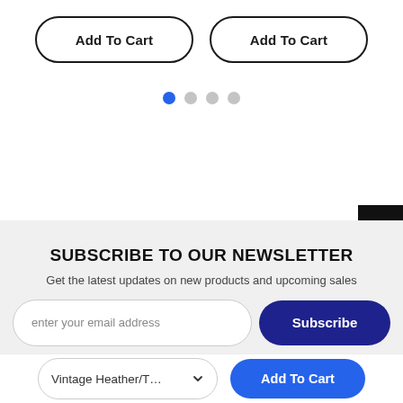[Figure (screenshot): Two 'Add To Cart' pill-shaped buttons side by side with black border on white background]
[Figure (other): Carousel pagination dots: one blue active dot and three grey inactive dots]
[Figure (other): Black back-to-top button with white chevron arrow in top-right]
SUBSCRIBE TO OUR NEWSLETTER
Get the latest updates on new products and upcoming sales
[Figure (screenshot): Email subscription form: text input with placeholder 'enter your email address' and a dark blue 'Subscribe' button]
[Figure (screenshot): Sticky bottom bar: variant selector 'Vintage Heather/T...' with dropdown chevron and blue 'Add To Cart' button]